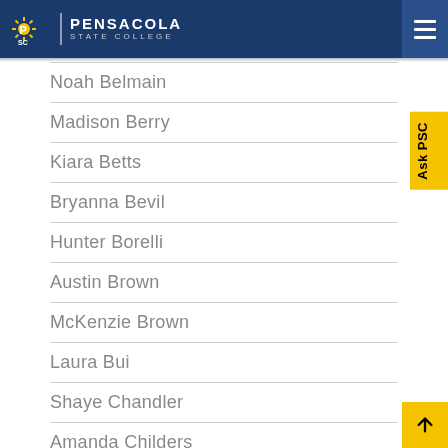Pensacola State College
Noah Belmain
Madison Berry
Kiara Betts
Bryanna Bevil
Hunter Borelli
Austin Brown
McKenzie Brown
Laura Bui
Shaye Chandler
Amanda Childers